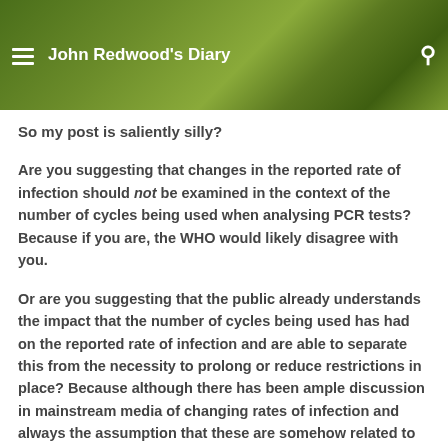John Redwood's Diary
So my post is saliently silly?
Are you suggesting that changes in the reported rate of infection should not be examined in the context of the number of cycles being used when analysing PCR tests? Because if you are, the WHO would likely disagree with you.
Or are you suggesting that the public already understands the impact that the number of cycles being used has had on the reported rate of infection and are able to separate this from the necessity to prolong or reduce restrictions in place? Because although there has been ample discussion in mainstream media of changing rates of infection and always the assumption that these are somehow related to government action or lack of action, but very little discussion of how some